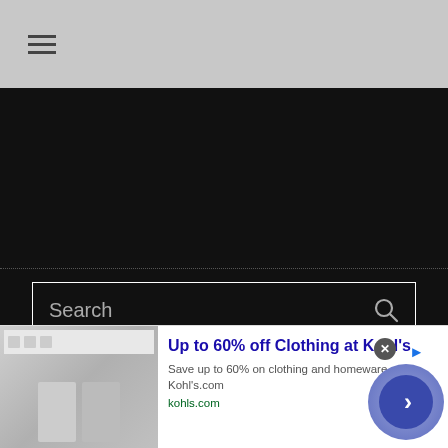[Figure (screenshot): Website page header with gray background and hamburger menu icon (three horizontal lines)]
[Figure (screenshot): Dark background section with dotted separator line, a search input box with 'Search' placeholder text and magnifying glass icon, another dotted separator, and 'RECENT POSTS' section header text]
[Figure (screenshot): Advertisement banner: 'Up to 60% off Clothing at Kohl's' with subtitle 'Save up to 60% on clothing and homeware at Kohl's.com', URL 'kohls.com', ad image on left, circular CTA button with chevron on right, close button and ad badge]